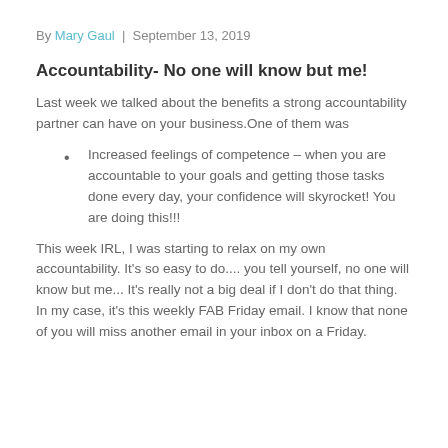By Mary Gaul | September 13, 2019
Accountability- No one will know but me!
Last week we talked about the benefits a strong accountability partner can have on your business.One of them was
Increased feelings of competence – when you are accountable to your goals and getting those tasks done every day, your confidence will skyrocket!  You are doing this!!!
This week IRL, I was starting to relax on my own accountability.  It's so easy to do....  you tell yourself, no one will know but me...  It's really not a big deal if I don't do that thing.  In my case, it's this weekly FAB Friday email.  I know that none of you will miss another email in your inbox on a Friday.